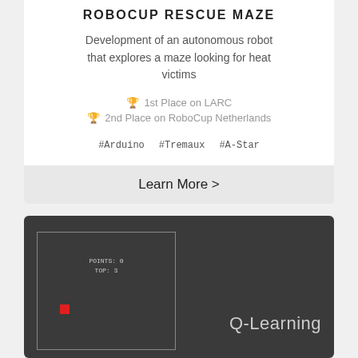Robocup Rescue Maze
Development of an autonomous robot that explores a maze looking for heat victims
🏆 1st Place on LARC
🏆 2nd Place on RoboCup Netherlands
#Arduino
#Tremaux
#A-Star
Learn More >
[Figure (screenshot): Dark-themed game/simulation screenshot showing a rectangular bordered area with a red square dot on the left side and text 'POINTS: 0 TOP: 3' in the upper center area, next to a Q-Learning label on the right]